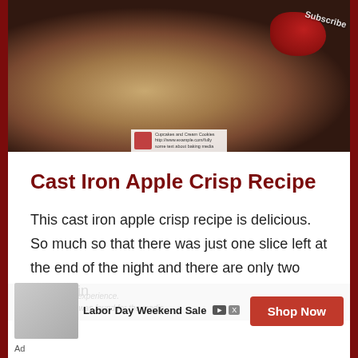[Figure (photo): A cast iron skillet filled with apple crisp (oat crumble topping with red apple pieces visible), viewed from above. A 'Subscribe' watermark is visible in the top right corner.]
Cast Iron Apple Crisp Recipe
This cast iron apple crisp recipe is delicious. So much so that there was just one slice left at the end of the night and there are only two people in
Labor Day Weekend Sale
Shop Now
Ad